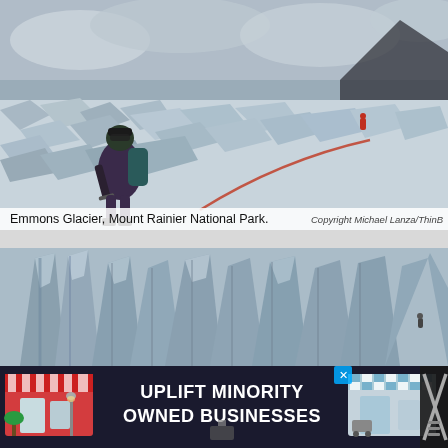[Figure (photo): Mountain climber on Emmons Glacier at Mount Rainier National Park, roped to another climber visible in the distance on a vast snow and ice field with cloudy sky.]
Emmons Glacier, Mount Rainier National Park.
Copyright Michael Lanza/ThinB
[Figure (photo): Close-up view of tall jagged glacier seracs (ice towers/pinnacles) in shades of grey and blue-white, a climber visible at far right on the ice wall.]
[Figure (screenshot): Advertisement banner: UPLIFT MINORITY OWNED BUSINESSES with cartoon storefront graphics on each side and a close button on the right.]